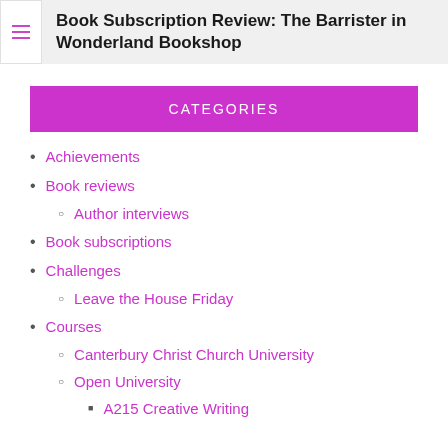Book Subscription Review: The Barrister in Wonderland Bookshop
CATEGORIES
Achievements
Book reviews
Author interviews
Book subscriptions
Challenges
Leave the House Friday
Courses
Canterbury Christ Church University
Open University
A215 Creative Writing